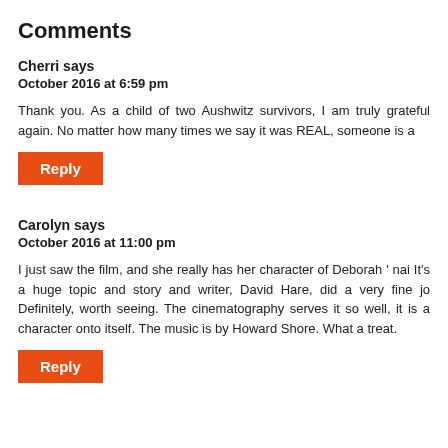Comments
Cherri says
October 2016 at 6:59 pm
Thank you. As a child of two Aushwitz survivors, I am truly grateful again. No matter how many times we say it was REAL, someone is a
Reply
Carolyn says
October 2016 at 11:00 pm
I just saw the film, and she really has her character of Deborah ' nai It's a huge topic and story and writer, David Hare, did a very fine jo Definitely, worth seeing. The cinematography serves it so well, it is a character onto itself. The music is by Howard Shore. What a treat.
Reply